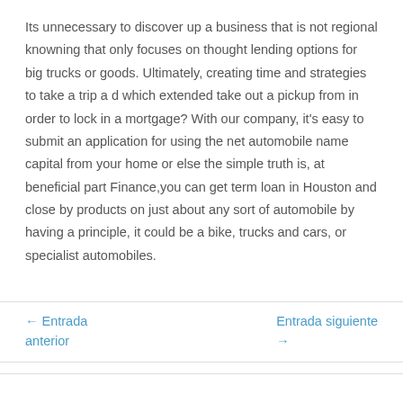Its unnecessary to discover up a business that is not regional knowning that only focuses on thought lending options for big trucks or goods. Ultimately, creating time and strategies to take a trip a d which extended take out a pickup from in order to lock in a mortgage? With our company, it's easy to submit an application for using the net automobile name capital from your home or else the simple truth is, at beneficial part Finance,you can get term loan in Houston and close by products on just about any sort of automobile by having a principle, it could be a bike, trucks and cars, or specialist automobiles.
← Entrada anterior
Entrada siguiente →